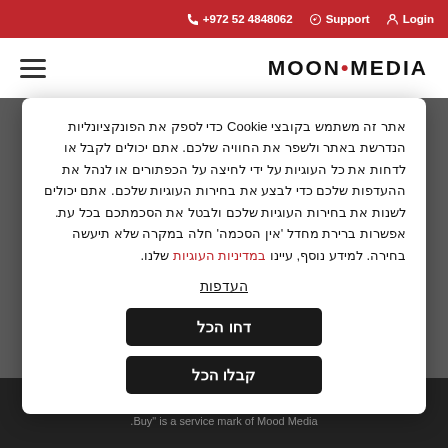+972 52 4848062  Support  Login
[Figure (logo): Mood Media logo with hamburger menu icon on the left and MOON•MEDIA text on the right]
אתר זה משתמש בקובצי Cookie כדי לספק את הפונקציונליות הנדרשת באתר ולשפר את החוויה שלכם. אתם יכולים לקבל או לדחות את כל העוגיות על ידי לחיצה על הכפתורים או לנהל את ההעדפות שלכם כדי לבצע את בחירות העוגיות שלכם. אתם יכולים לשנות את בחירות העוגיות שלכם ולבטל את הסכמתכם בכל עת. אפשרות ברירת מחדל 'אין הסכמה' חלה במקרה שלא תיעשה בחירה. למידע נוסף, עיינו במדיניות העוגיות שלנו.
העדפות
דחו הכל
קבלו הכל
Mood Media. "We Put People In The Mood to 2022 © Buy" is a service mark of Mood Media.